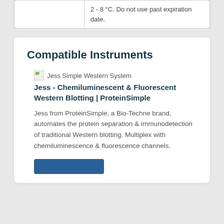|  | 2 - 8 °C. Do not use past expiration date. |
Compatible Instruments
[Figure (photo): Broken image icon with alt text 'Jess Simple Western System']
Jess - Chemiluminescent & Fluorescent Western Blotting | ProteinSimple
Jess from ProteinSimple, a Bio-Techne brand, automates the protein separation & immunodetection of traditional Western blotting. Multiplex with chemiluminescence & fluorescence channels.